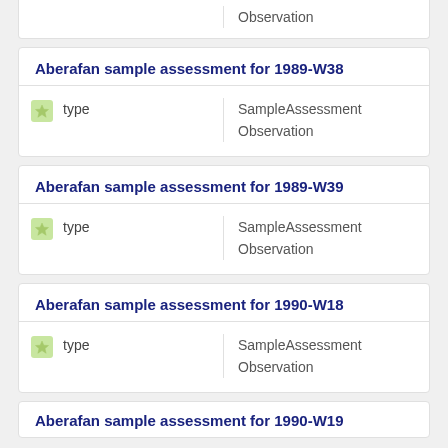Observation
Aberafan sample assessment for 1989-W38
| type |  |
| --- | --- |
| SampleAssessment |  |
| Observation |  |
Aberafan sample assessment for 1989-W39
| type |  |
| --- | --- |
| SampleAssessment |  |
| Observation |  |
Aberafan sample assessment for 1990-W18
| type |  |
| --- | --- |
| SampleAssessment |  |
| Observation |  |
Aberafan sample assessment for 1990-W19